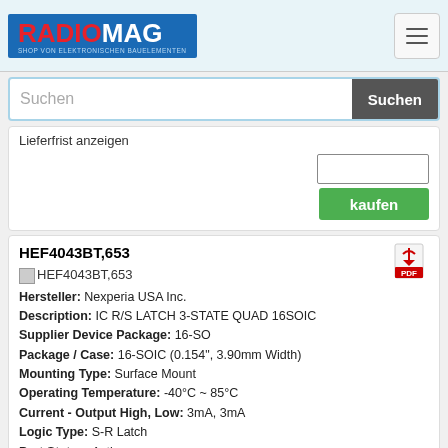[Figure (logo): Radiomag logo - blue background with red RADIO and white MAG text, subtitle SHOP VON ELEKTRONISCHEN BAUELEMENTEN]
Suchen
Lieferfrist anzeigen
HEF4043BT,653
HEF4043BT,653
Hersteller: Nexperia USA Inc.
Description: IC R/S LATCH 3-STATE QUAD 16SOIC
Supplier Device Package: 16-SO
Package / Case: 16-SOIC (0.154", 3.90mm Width)
Mounting Type: Surface Mount
Operating Temperature: -40°C ~ 85°C
Current - Output High, Low: 3mA, 3mA
Logic Type: S-R Latch
Part Status: Active
Packaging: Digi-Reel® (Zusätzliche Zahlung für die Spule beträgt 7 $)
Delay Time - Propagation: 15ns
Independent Circuits: 4